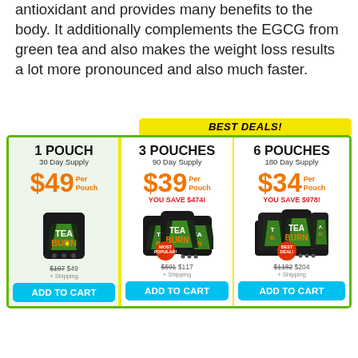antioxidant and provides many benefits to the body. It additionally complements the EGCG from green tea and also makes the weight loss results a lot more pronounced and also much faster.
[Figure (infographic): Pricing comparison table for Tea Burn supplement showing three options: 1 Pouch (30 Day Supply) at $49/pouch, 3 Pouches (90 Day Supply) at $39/pouch saving $474, and 6 Pouches (180 Day Supply) at $34/pouch saving $978. Each option includes product images, original/sale prices, and ADD TO CART buttons. Middle and right options are under a BEST DEALS! yellow banner.]